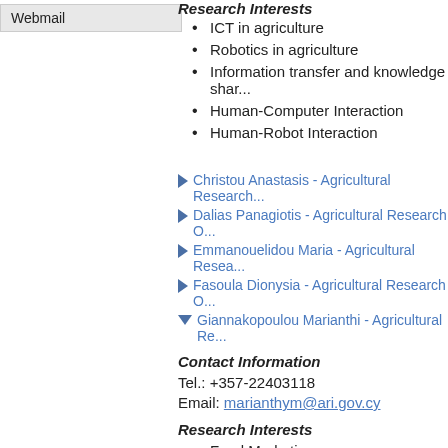Webmail
Research Interests
ICT in agriculture
Robotics in agriculture
Information transfer and knowledge sharing
Human-Computer Interaction
Human-Robot Interaction
Christou Anastasis - Agricultural Research...
Dalias Panagiotis - Agricultural Research O...
Emmanouelidou Maria - Agricultural Resea...
Fasoula Dionysia - Agricultural Research O...
Giannakopoulou Marianthi - Agricultural Re...
Contact Information
Tel.: +357-22403118
Email: marianthym@ari.gov.cy
Research Interests
Food Marketing
Consumer Behavior
Business Administration of agribusinesses
Use of new technologies in Agriculture